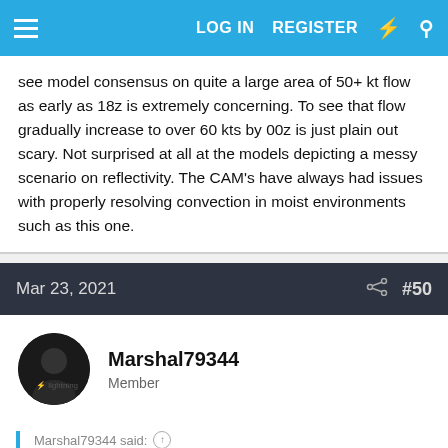LOG IN   REGISTER
see model consensus on quite a large area of 50+ kt flow as early as 18z is extremely concerning. To see that flow gradually increase to over 60 kts by 00z is just plain out scary. Not surprised at all at the models depicting a messy scenario on reflectivity. The CAM's have always had issues with properly resolving convection in moist environments such as this one.
Mar 23, 2021   #50
Marshal79344
Member
Marshal79344 said:
This event is again giving me knots in my stomach out of fear. Models are depicting a much more dynamic system than what we had on March 17th, while maintaining similar kinematics. To see